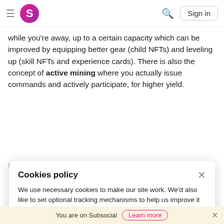Subsocial — Sign in
while you're away, up to a certain capacity which can be improved by equipping better gear (child NFTs) and leveling up (skill NFTs and experience cards). There is also the concept of active mining where you actually issue commands and actively participate, for higher yield.
If you have multiple systems, multiple actions can be
Cookies policy
We use necessary cookies to make our site work. We'd also like to set optional tracking mechanisms to help us improve it by collecting and reporting information on how you use it.
Decline
Accept
You are on Subsocial  Learn more